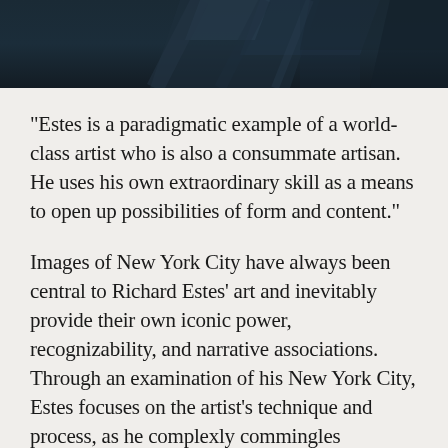[Figure (photo): Dark toned photograph strip at the top of the page, showing what appears to be metallic or dark architectural elements against a deep teal/navy background.]
"Estes is a paradigmatic example of a world-class artist who is also a consummate artisan. He uses his own extraordinary skill as a means to open up possibilities of form and content."
Images of New York City have always been central to Richard Estes' art and inevitably provide their own iconic power, recognizability, and narrative associations. Through an examination of his New York City, Estes focuses on the artist's technique and process, as he complexly commingles reflections and reality, interior and exterior